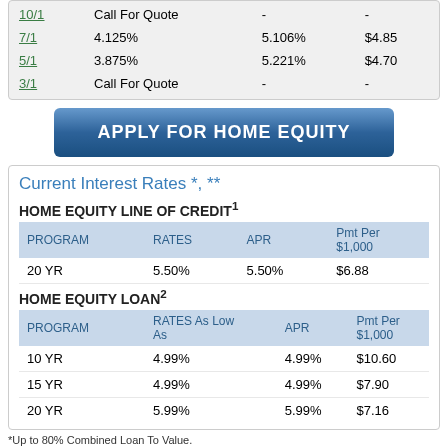|  |  |  |  |
| --- | --- | --- | --- |
| 10/1 | Call For Quote | - | - |
| 7/1 | 4.125% | 5.106% | $4.85 |
| 5/1 | 3.875% | 5.221% | $4.70 |
| 3/1 | Call For Quote | - | - |
APPLY FOR HOME EQUITY
Current Interest Rates *, **
HOME EQUITY LINE OF CREDIT1
| PROGRAM | RATES | APR | Pmt Per $1,000 |
| --- | --- | --- | --- |
| 20 YR | 5.50% | 5.50% | $6.88 |
HOME EQUITY LOAN2
| PROGRAM | RATES As Low As | APR | Pmt Per $1,000 |
| --- | --- | --- | --- |
| 10 YR | 4.99% | 4.99% | $10.60 |
| 15 YR | 4.99% | 4.99% | $7.90 |
| 20 YR | 5.99% | 5.99% | $7.16 |
*Up to 80% Combined Loan To Value.
Other rates and terms available.